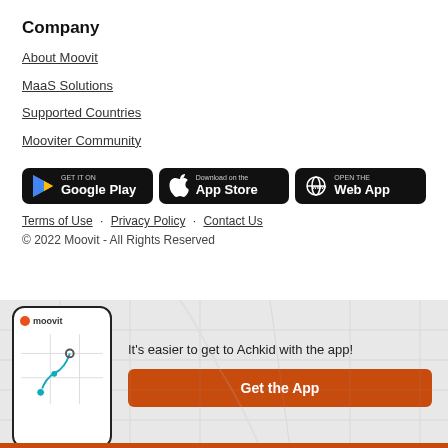Company
About Moovit
MaaS Solutions
Supported Countries
Mooviter Community
[Figure (other): Three app store buttons: GET IT ON Google Play, Download on the App Store, OPEN THE Web App]
Terms of Use · Privacy Policy · Contact Us
© 2022 Moovit - All Rights Reserved
[Figure (other): Bottom banner with Moovit app screenshot on phone and 'It's easier to get to Achkid with the app!' text with orange Get the App button]